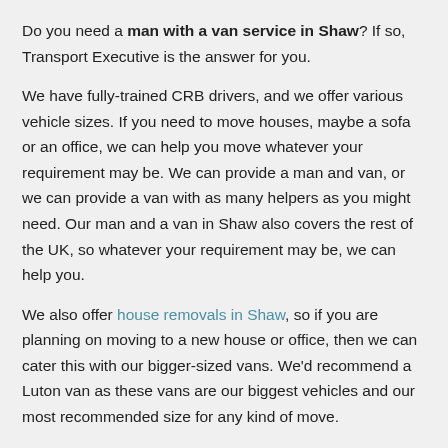Do you need a man with a van service in Shaw? If so, Transport Executive is the answer for you.
We have fully-trained CRB drivers, and we offer various vehicle sizes. If you need to move houses, maybe a sofa or an office, we can help you move whatever your requirement may be. We can provide a man and van, or we can provide a van with as many helpers as you might need. Our man and a van in Shaw also covers the rest of the UK, so whatever your requirement may be, we can help you.
We also offer house removals in Shaw, so if you are planning on moving to a new house or office, then we can cater this with our bigger-sized vans. We'd recommend a Luton van as these vans are our biggest vehicles and our most recommended size for any kind of move.
Call us today at +44 20 3318 4720 to speak to one of our